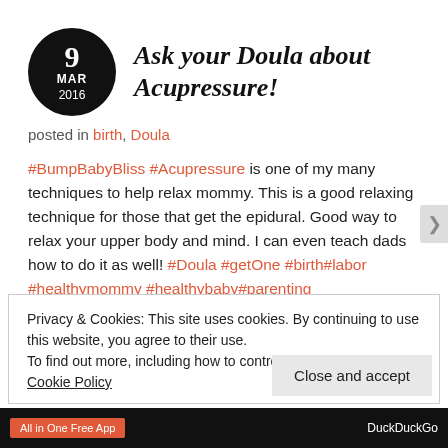Ask your Doula about Acupressure!
posted in birth, Doula
#BumpBabyBliss #Acupressure is one of my many techniques to help relax mommy. This is a good relaxing technique for those that get the epidural. Good way to relax your upper body and mind. I can even teach dads how to do it as well! #Doula #getOne #birth#labor #healthymommy #healthybaby#parenting
Privacy & Cookies: This site uses cookies. By continuing to use this website, you agree to their use.
To find out more, including how to control cookies, see here: Cookie Policy
Close and accept